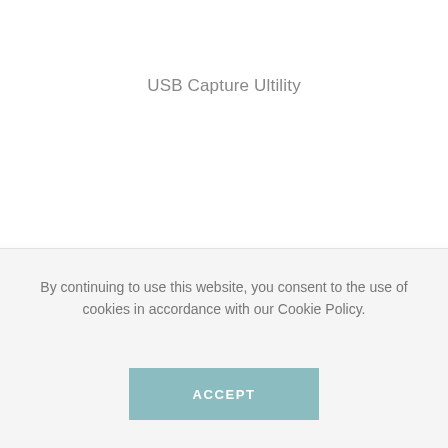USB Capture Ultility
By continuing to use this website, you consent to the use of cookies in accordance with our Cookie Policy.
ACCEPT